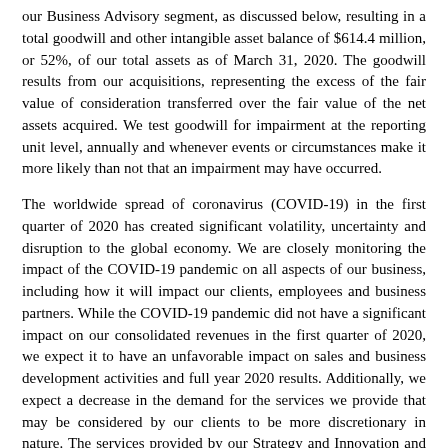our Business Advisory segment, as discussed below, resulting in a total goodwill and other intangible asset balance of $614.4 million, or 52%, of our total assets as of March 31, 2020. The goodwill results from our acquisitions, representing the excess of the fair value of consideration transferred over the fair value of the net assets acquired. We test goodwill for impairment at the reporting unit level, annually and whenever events or circumstances make it more likely than not that an impairment may have occurred.
The worldwide spread of coronavirus (COVID-19) in the first quarter of 2020 has created significant volatility, uncertainty and disruption to the global economy. We are closely monitoring the impact of the COVID-19 pandemic on all aspects of our business, including how it will impact our clients, employees and business partners. While the COVID-19 pandemic did not have a significant impact on our consolidated revenues in the first quarter of 2020, we expect it to have an unfavorable impact on sales and business development activities and full year 2020 results. Additionally, we expect a decrease in the demand for the services we provide that may be considered by our clients to be more discretionary in nature. The services provided by our Strategy and Innovation and Life Sciences reporting units within our Business Advisory segment focus on strategic solutions for healthy, well-capitalized companies to identify new growth opportunities and may be considered by our clients to be more discretionary in nature; therefore, we are cautious about near-term results for these two reporting units. Based on our internal projections and the preparation of our financial statements for the quarter ended March 31, 2020, and considering the expected decrease in demand due to the COVID-19 pandemic, we believed that the fair value of these two reporting units may no longer exceed their carrying values and performed an interim impairment test on both reporting units. Based on the estimated fair values of the Strategy and Innovation and Life